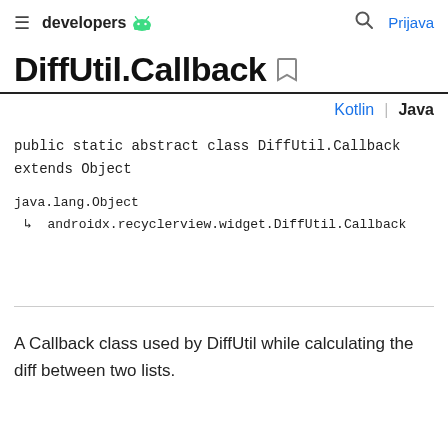developers  [Android logo]   [search icon]   Prijava
DiffUtil.Callback
Kotlin | Java
public static abstract class DiffUtil.Callback extends Object
java.lang.Object
  ↳  androidx.recyclerview.widget.DiffUtil.Callback
A Callback class used by DiffUtil while calculating the diff between two lists.